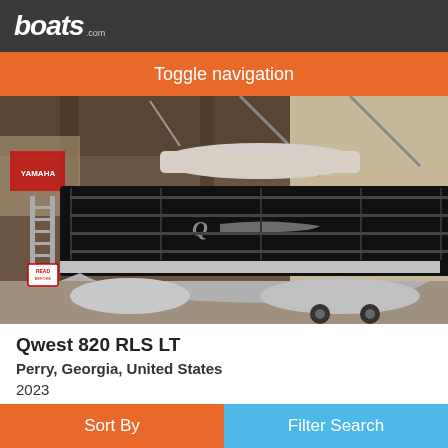boats.com
Toggle navigation
[Figure (photo): A black and silver pontoon boat (Qwest 820 RLS LT) stored inside a metal warehouse/barn. The boat has a black hull with silver trim, a bimini top, and is on a trailer. A fold-up ladder is visible on the left side. A Yamaha sign is visible in the background on the left.]
Qwest 820 RLS LT
Perry, Georgia, United States
2023
Request Price
Sort By    Filter Search